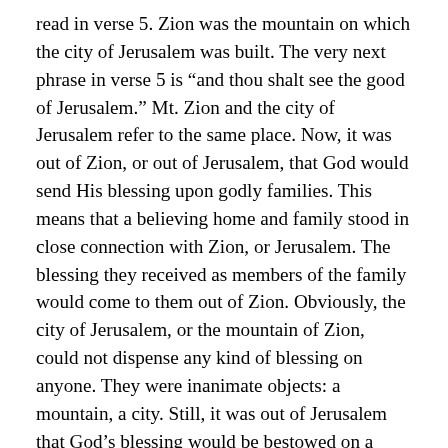read in verse 5. Zion was the mountain on which the city of Jerusalem was built. The very next phrase in verse 5 is “and thou shalt see the good of Jerusalem.” Mt. Zion and the city of Jerusalem refer to the same place. Now, it was out of Zion, or out of Jerusalem, that God would send His blessing upon godly families. This means that a believing home and family stood in close connection with Zion, or Jerusalem. The blessing they received as members of the family would come to them out of Zion. Obviously, the city of Jerusalem, or the mountain of Zion, could not dispense any kind of blessing on anyone. They were inanimate objects: a mountain, a city. Still, it was out of Jerusalem that God’s blessing would be bestowed on a believing family.
How was this the case? Well, what was in Jerusalem? The temple was there. The place